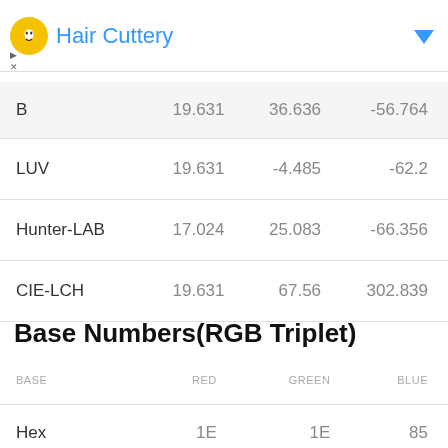Hair Cuttery
|  |  |  |  |
| --- | --- | --- | --- |
| B | 19.631 | 36.636 | -56.764 |
| LUV | 19.631 | -4.485 | -62.2 |
| Hunter-LAB | 17.024 | 25.083 | -66.356 |
| CIE-LCH | 19.631 | 67.56 | 302.839 |
Base Numbers(RGB Triplet)
| BASE | RED | GREEN | BLUE |
| --- | --- | --- | --- |
| Hex | 1E | 1E | 85 |
| Decimal | 30 | 30 | 133 |